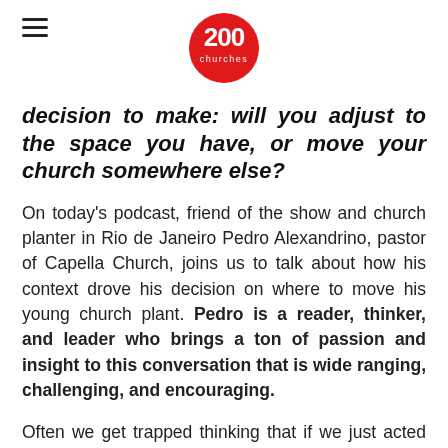200 churches logo
decision to make: will you adjust to the space you have, or move your church somewhere else?
On today's podcast, friend of the show and church planter in Rio de Janeiro Pedro Alexandrino, pastor of Capella Church, joins us to talk about how his context drove his decision on where to move his young church plant. Pedro is a reader, thinker, and leader who brings a ton of passion and insight to this conversation that is wide ranging, challenging, and encouraging.
Often we get trapped thinking that if we just acted like our favorite celebrity pastor we could replicate their success in our church, but in reality, every